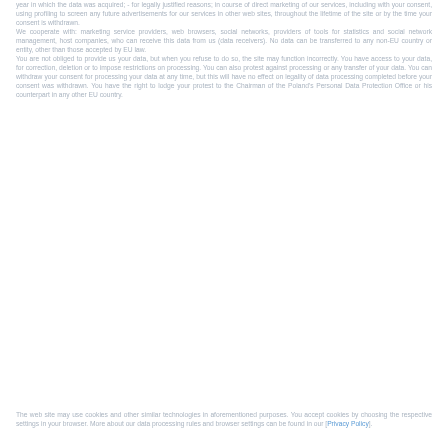year in which the data was acquired; - for legally justified reasons; in course of direct marketing of our services, including with your consent, using profiling to screen any future advertisements for our services in other web sites, throughout the lifetime of the site or by the time your consent is withdrawn. We cooperate with: marketing service providers, web browsers, social networks, providers of tools for statistics and social network management, host companies, who can receive this data from us (data receivers). No data can be transferred to any non-EU country or entity, other than those accepted by EU law. You are not obliged to provide us your data, but when you refuse to do so, the site may function incorrectly. You have access to your data, for correction, deletion or to impose restrictions on processing. You can also protest against processing or any transfer of your data. You can withdraw your consent for processing your data at any time, but this will have no effect on legality of data processing completed before your consent was withdrawn. You have the right to lodge your protest to the Chairman of the Poland's Personal Data Protection Office or his counterpart in any other EU country.
The web site may use cookies and other similar technologies in aforementioned purposes. You accept cookies by choosing the respective settings in your browser. More about our data processing rules and browser settings can be found in our [Privacy Policy].